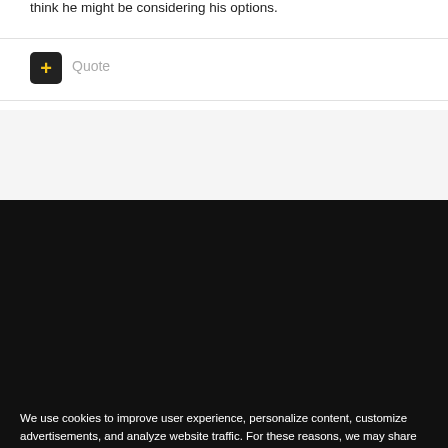think he might be considering his options.
Quote
PortVale4Life
Posted May 12
Posted
May 12
We use cookies to improve user experience, personalize content, customize advertisements, and analyze website traffic. For these reasons, we may share your site usage data with our advertising and analytics partners. By clicking “Accept,” you agree to store on your device all the technologies described in our Cookie Policy. You can change your cookie settings at any time by clicking “Preferences.”
Decline
Accept
Preferences